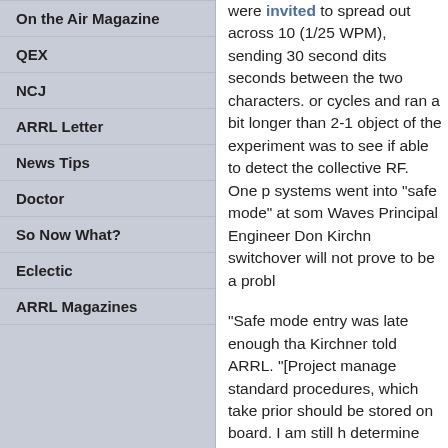On the Air Magazine
QEX
NCJ
ARRL Letter
News Tips
Doctor
So Now What?
Eclectic
ARRL Magazines
were invited to spread out across 10 (1/25 WPM), sending 30 second dits seconds between the two characters. or cycles and ran a bit longer than 2-1 object of the experiment was to see if able to detect the collective RF. One p systems went into “safe mode” at som Waves Principal Engineer Don Kirchn switchover will not prove to be a probl
“Safe mode entry was late enough tha Kirchner told ARRL. “[Project manage standard procedures, which take prior should be stored on board. I am still h determine whether or not our instrume
Among stations participating were ope Club’s K4KDJ, who posted video of th
Whatever the outcome, Kirchner said, the operators that took part in this exp